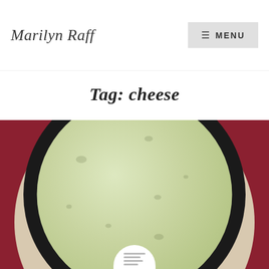Marilyn Raff | MENU
Tag: cheese
[Figure (photo): Top-down view of a bowl of creamy broccoli cheese soup in a black bowl with a cream-colored outer bowl, placed on a dark red surface. A small circular element is visible at the bottom of the image.]